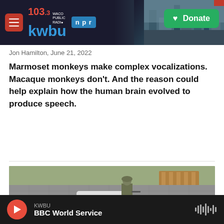[Figure (screenshot): KWBU 103.3 Waco Public Radio NPR website header with logo and Donate button]
Jon Hamilton,  June 21, 2022
Marmoset monkeys make complex vocalizations. Macaque monkeys don't. And the reason could help explain how the human brain evolved to produce speech.
[Figure (other): LISTEN button with play icon and duration 3:44]
[Figure (photo): Photo of a soldier standing next to a white car with a concrete wall in the background]
[Figure (other): Bottom audio player bar showing KWBU BBC World Service with play button and waveform icon]